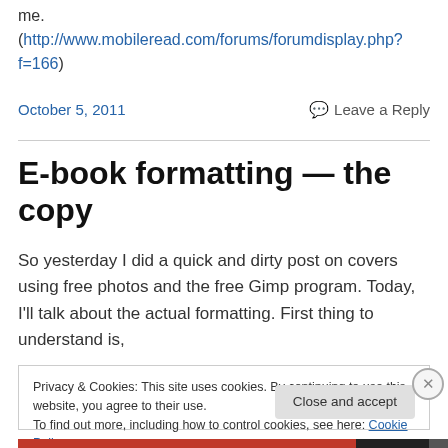me. (http://www.mobileread.com/forums/forumdisplay.php?f=166)
October 5, 2011
Leave a Reply
E-book formatting — the copy
So yesterday I did a quick and dirty post on covers using free photos and the free Gimp program. Today, I'll talk about the actual formatting. First thing to understand is,
Privacy & Cookies: This site uses cookies. By continuing to use this website, you agree to their use. To find out more, including how to control cookies, see here: Cookie Policy
Close and accept